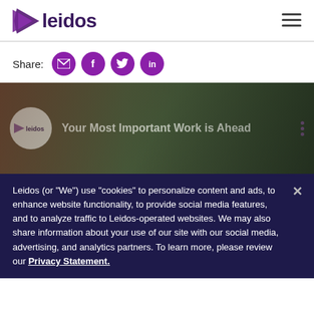leidos
Share:
[Figure (screenshot): Video thumbnail showing Leidos logo and text 'Your Most Important Work is Ahead' over photo of people]
Leidos (or “We”) use “cookies” to personalize content and ads, to enhance website functionality, to provide social media features, and to analyze traffic to Leidos-operated websites. We may also share information about your use of our site with our social media, advertising, and analytics partners. To learn more, please review our Privacy Statement.